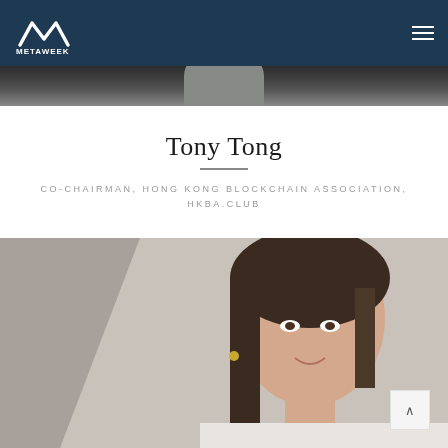METAWEEK
[Figure (photo): Partial head silhouette at top, dark toned photo strip]
Tony Tong
CO-CHAIRMAN, HONG KONG BLOCKCHAIN ASSOCIATION, HKBA.CLUB
[Figure (photo): Portrait photo of a young woman with dark hair, smiling, light background]